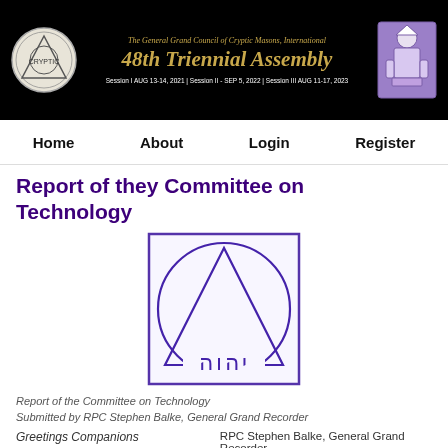The General Grand Council of Cryptic Masons, International — 48th Triennial Assembly — Session I AUG 13-14, 2021 | Session II - SEP 5, 2022 | Session III AUG 11-17, 2023
Home   About   Login   Register
Report of they Committee on Technology
[Figure (logo): Cryptic Masons logo: square border with a triangle inside a circle, Hebrew text at the bottom of the triangle]
Report of the Committee on Technology
Submitted by RPC Stephen Balke, General Grand Recorder
Greetings Companions		RPC Stephen Balke, General Grand Recorder